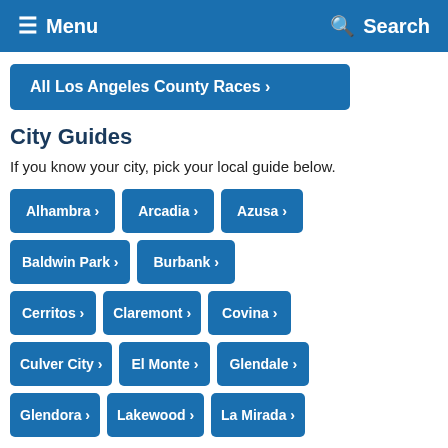Menu | Search
All Los Angeles County Races >
City Guides
If you know your city, pick your local guide below.
Alhambra >
Arcadia >
Azusa >
Baldwin Park >
Burbank >
Cerritos >
Claremont >
Covina >
Culver City >
El Monte >
Glendale >
Glendora >
Lakewood >
La Mirada >